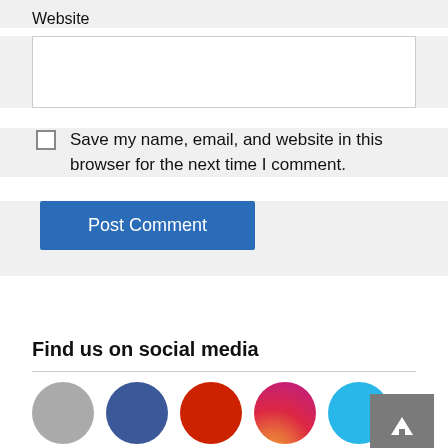Website
[Figure (screenshot): Website text input field (empty, white background)]
Save my name, email, and website in this browser for the next time I comment.
[Figure (screenshot): Post Comment button in blue]
Find us on social media
[Figure (infographic): Row of five social media icon circles: gray, dark blue (Facebook), red (YouTube/Google+), gradient purple-orange (Instagram), cyan (Twitter)]
[Figure (screenshot): Gray back-to-top arrow button in bottom right corner]